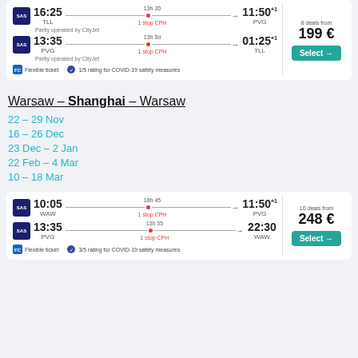[Figure (screenshot): SAS flight card: TLL 16:25 → PVG 11:50+1 via 1 stop CPH (13h 20), then PVG 13:35 → TLL 01:25+1 via 1 stop CPH (13h 0). Partly operated by CityJet. Flexible ticket, 1/5 rating for COVID-19 safety measures. 8 deals from 199€, Select button.]
Warsaw – Shanghai – Warsaw
22 – 29 Nov
16 – 26 Dec
23 Dec – 2 Jan
22 Feb – 4 Mar
10 – 18 Mar
[Figure (screenshot): SAS flight card: WAW 10:05 → PVG 11:50+1 via 1 stop CPH (18h 45), then PVG 13:35 → WAW 22:30 via 1 stop CPH (13h 55). Flexible ticket, 3/5 rating for COVID-19 safety measures. 10 deals from 248€, Select button.]